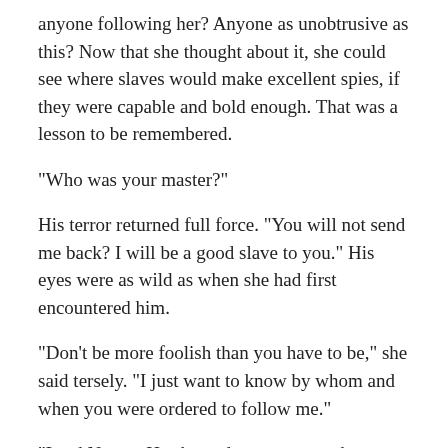anyone following her? Anyone as unobtrusive as this? Now that she thought about it, she could see where slaves would make excellent spies, if they were capable and bold enough. That was a lesson to be remembered.
“Who was your master?”
His terror returned full force. “You will not send me back? I will be a good slave to you.” His eyes were as wild as when she had first encountered him.
“Don’t be more foolish than you have to be,” she said tersely. “I just want to know by whom and when you were ordered to follow me.”
“Lord Nogay. He showed you to me at the start of the kurultai, High Lady.”